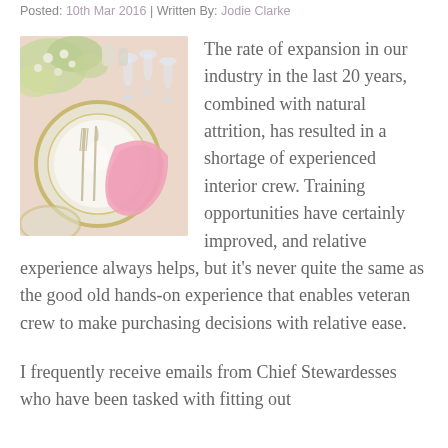Posted: 10th Mar 2016 | Written By: Jodie Clarke
[Figure (photo): Overhead view of an elegantly set table with white and gold plates, cutlery, glassware, and pink napkin with floral decorations]
The rate of expansion in our industry in the last 20 years, combined with natural attrition, has resulted in a shortage of experienced interior crew. Training opportunities have certainly improved, and relative experience always helps, but it’s never quite the same as the good old hands-on experience that enables veteran crew to make purchasing decisions with relative ease.
I frequently receive emails from Chief Stewardesses who have been tasked with fitting out